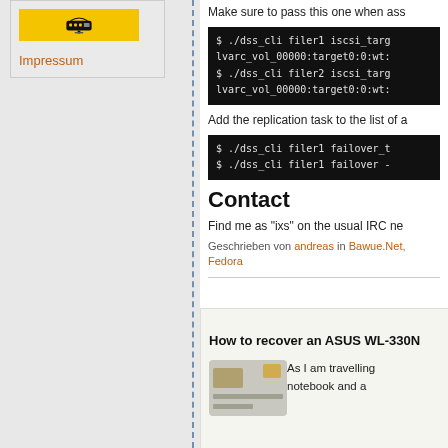[Figure (logo): Yellow box with a yellow/black icon (network/router icon)]
Impressum
Make sure to pass this one when ass
$ ./dss_cli filer1 iscsi_targ
lvarc_vol_00000:target0:0:wt:
$ ./dss_cli filer2 iscsi_targ
lvarc_vol_00000:target0:0:wt:
Add the replication task to the list of a
$ ./dss_cli filer1 failover_t
$ ./dss_cli filer1 failover -
Contact
Find me as "ixs" on the usual IRC ne
Geschrieben von andreas in Bawue.Net, Fedora
How to recover an ASUS WL-330N
As I am travelling
notebook and a